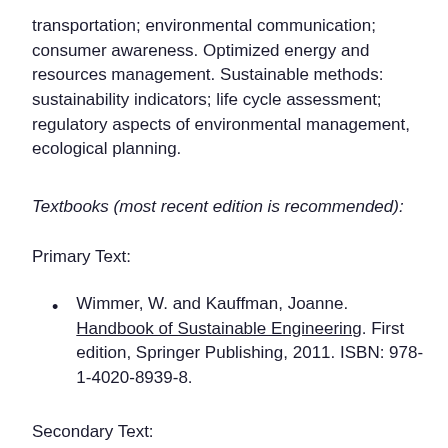transportation; environmental communication; consumer awareness. Optimized energy and resources management. Sustainable methods: sustainability indicators; life cycle assessment; regulatory aspects of environmental management, ecological planning.
Textbooks (most recent edition is recommended):
Primary Text:
Wimmer, W. and Kauffman, Joanne. Handbook of Sustainable Engineering. First edition, Springer Publishing, 2011. ISBN: 978-1-4020-8939-8.
Secondary Text: